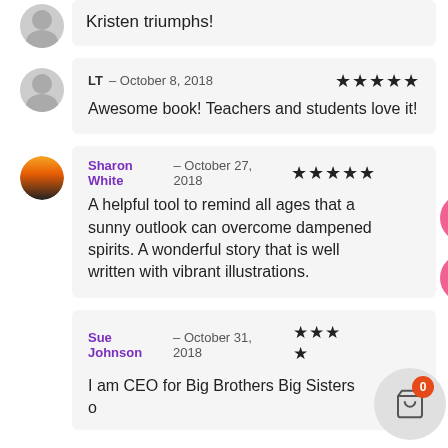Kristen triumphs!
LT – October 8, 2018 ★★★★★
Awesome book! Teachers and students love it!
Sharon White – October 27, 2018 ★★★★★
A helpful tool to remind all ages that a sunny outlook can overcome dampened spirits. A wonderful story that is well written with vibrant illustrations.
Sue Johnson – October 31, 2018 ★★★½
I am CEO for Big Brothers Big Sisters o…